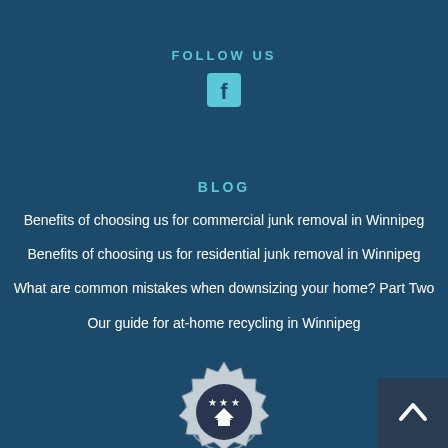FOLLOW US
[Figure (logo): Facebook icon - white 'f' on teal/cyan square button]
BLOG
Benefits of choosing us for commercial junk removal in Winnipeg
Benefits of choosing us for residential junk removal in Winnipeg
What are common mistakes when downsizing your home? Part Two
Our guide for at-home recycling in Winnipeg
[Figure (logo): Badge/seal logo with stars and house icon at the bottom of the page]
[Figure (other): Back to top button - dark blue square with upward chevron arrow]